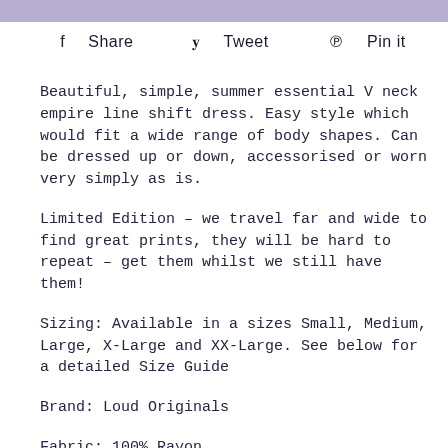[Figure (other): Lavender/purple horizontal banner bar at top of page]
f Share   y Tweet   p Pin it
Beautiful, simple, summer essential V neck empire line shift dress. Easy style which would fit a wide range of body shapes. Can be dressed up or down, accessorised or worn very simply as is.
Limited Edition - we travel far and wide to find great prints, they will be hard to repeat - get them whilst we still have them!
Sizing: Available in a sizes Small, Medium, Large, X-Large and XX-Large. See below for a detailed Size Guide
Brand: Loud Originals
Fabric: 100% Rayon.